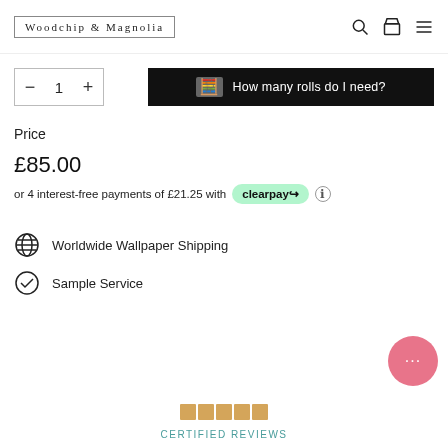Woodchip & Magnolia
1
How many rolls do I need?
Price
£85.00
or 4 interest-free payments of £21.25 with clearpay
Worldwide Wallpaper Shipping
Sample Service
CERTIFIED REVIEWS